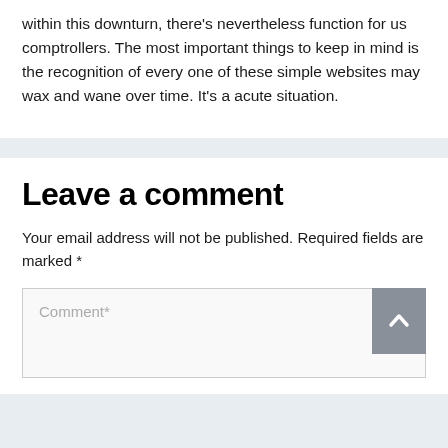within this downturn, there's nevertheless function for us comptrollers. The most important things to keep in mind is the recognition of every one of these simple websites may wax and wane over time. It's a acute situation.
Leave a comment
Your email address will not be published. Required fields are marked *